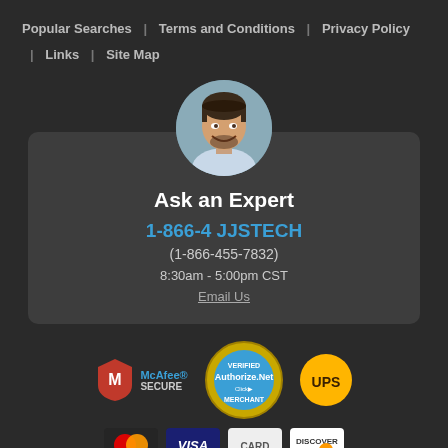Popular Searches | Terms and Conditions | Privacy Policy | Links | Site Map
[Figure (infographic): Ask an Expert card with circular portrait photo of smiling man, phone number 1-866-4 JJSTECH (1-866-455-7832), hours 8:30am - 5:00pm CST, Email Us link]
[Figure (logo): McAfee SECURE badge, Authorize.Net Verified Merchant seal, UPS logo badge]
[Figure (logo): Payment method icons: Mastercard, Visa, and Discover cards (partially visible)]